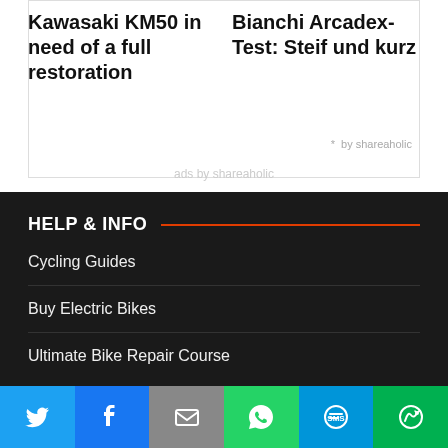Kawasaki KM50 in need of a full restoration
Bianchi Arcadex- Test: Steif und kurz
* by shareaholic
ads by shareaholic
HELP & INFO
Cycling Guides
Buy Electric Bikes
Ultimate Bike Repair Course
[Figure (infographic): Social media share bar with Twitter, Facebook, Email, WhatsApp, SMS, and More buttons]